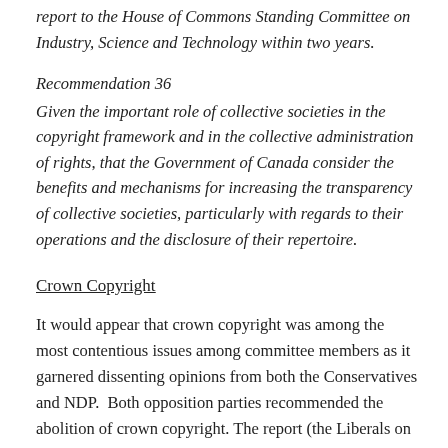report to the House of Commons Standing Committee on Industry, Science and Technology within two years.
Recommendation 36
Given the important role of collective societies in the copyright framework and in the collective administration of rights, that the Government of Canada consider the benefits and mechanisms for increasing the transparency of collective societies, particularly with regards to their operations and the disclosure of their repertoire.
Crown Copyright
It would appear that crown copyright was among the most contentious issues among committee members as it garnered dissenting opinions from both the Conservatives and NDP.  Both opposition parties recommended the abolition of crown copyright. The report (the Liberals on this issue) stopped short of recommending the abolition of